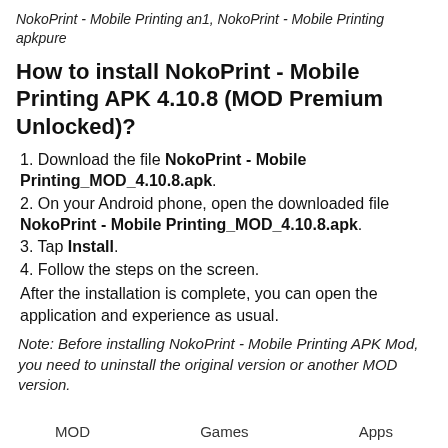NokoPrint - Mobile Printing an1, NokoPrint - Mobile Printing apkpure
How to install NokoPrint - Mobile Printing APK 4.10.8 (MOD Premium Unlocked)?
1. Download the file NokoPrint - Mobile Printing_MOD_4.10.8.apk.
2. On your Android phone, open the downloaded file NokoPrint - Mobile Printing_MOD_4.10.8.apk.
3. Tap Install.
4. Follow the steps on the screen.
After the installation is complete, you can open the application and experience as usual.
Note: Before installing NokoPrint - Mobile Printing APK Mod, you need to uninstall the original version or another MOD version.
MOD    Games    Apps